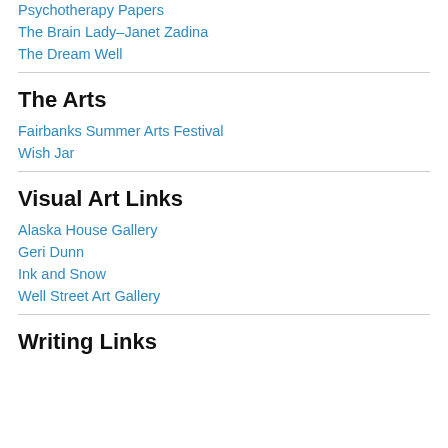Psychotherapy Papers
The Brain Lady–Janet Zadina
The Dream Well
The Arts
Fairbanks Summer Arts Festival
Wish Jar
Visual Art Links
Alaska House Gallery
Geri Dunn
Ink and Snow
Well Street Art Gallery
Writing Links